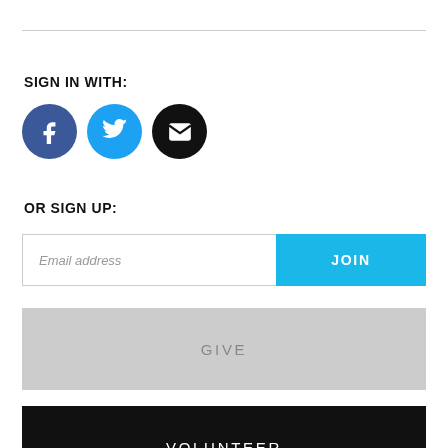SIGN IN WITH:
[Figure (illustration): Three social sign-in icon circles: Facebook (dark blue, f icon), Twitter (light blue, bird icon), Email (black, envelope icon)]
OR SIGN UP:
Email address | JOIN
GIVE
VOLUNTEER